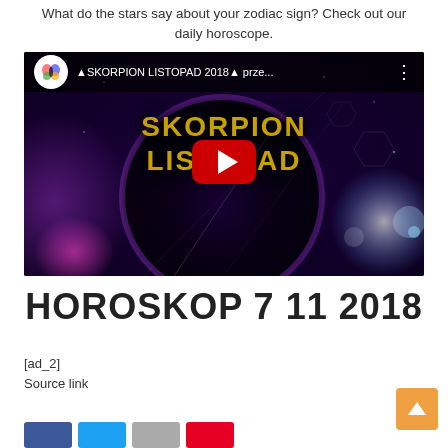What do the stars say about your zodiac sign? Check out our daily horoscope.
[Figure (screenshot): YouTube video thumbnail for 'SKORPION LISTOPAD 2018 prze...' showing a purple/black cosmic background with a planet, light beams, and the text SKORPION LISTOPAD in gold letters, with a red YouTube play button in the center and a YouTube bar at the top with a butterfly logo.]
HOROSKOP 7 11 2018
[ad_2]
Source link